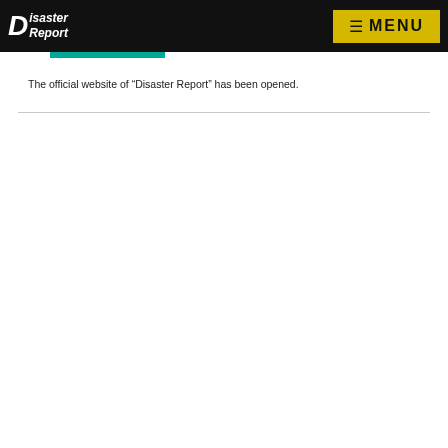Disaster Report — MENU
The official website of “Disaster Report” has been opened.